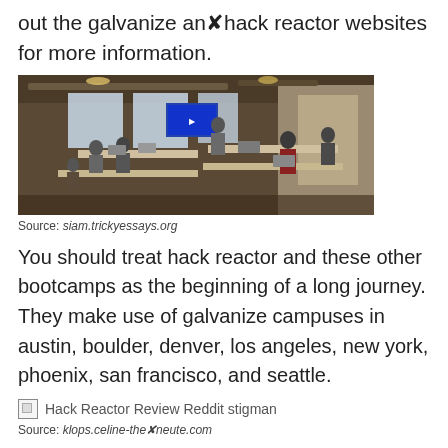out the galvanize and hack reactor websites for more information.
[Figure (photo): Photo of a hack reactor / coding bootcamp classroom with students seated at tables with laptops, and an instructor near a blue screen at the front of the room.]
Source: siam.trickyessays.org
You should treat hack reactor and these other bootcamps as the beginning of a long journey. They make use of galvanize campuses in austin, boulder, denver, los angeles, new york, phoenix, san francisco, and seattle.
[Figure (photo): Broken image placeholder labeled: Hack Reactor Review Reddit stigman]
Source: klops.celine-therapeute.com